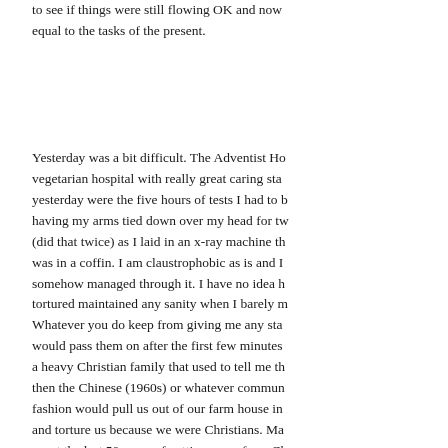to see if things were still flowing OK and now equal to the tasks of the present.
Yesterday was a bit difficult. The Adventist Ho vegetarian hospital with really great caring sta yesterday were the five hours of tests I had to having my arms tied down over my head for tw (did that twice) as I laid in an x-ray machine th was in a coffin. I am claustrophobic as is and somehow managed through it. I have no idea h tortured maintained any sanity when I barely m Whatever you do keep from giving me any sta would pass them on after the first few minutes a heavy Christian family that used to tell me th then the Chinese (1960s) or whatever commun fashion would pull us out of our farm house in and torture us because we were Christians. Ma spent the last 50 years of getting away from Ch because of the torture that the Russians and Ch upon us. I had Chinese nurses and doctors tort was because of my heart so maybe that is OK. yesterday included being on a treadmill until